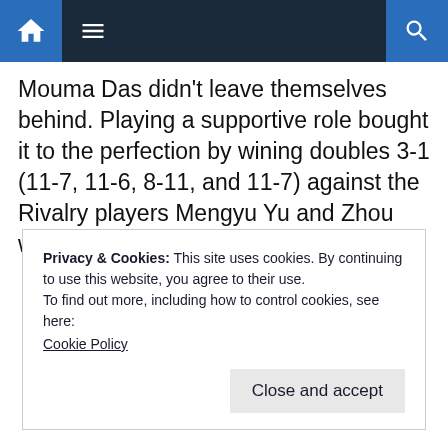Navigation bar with home, menu, and search icons
Mouma Das didn't leave themselves behind. Playing a supportive role bought it to the perfection by wining doubles 3-1 (11-7, 11-6, 8-11, and 11-7) against the Rivalry players Mengyu Yu and Zhou with 2-1 lead in the finals.
Privacy & Cookies: This site uses cookies. By continuing to use this website, you agree to their use.
To find out more, including how to control cookies, see here: Cookie Policy
Close and accept